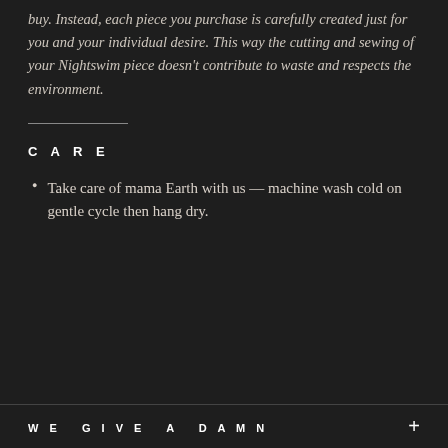buy. Instead, each piece you purchase is carefully created just for you and your individual desire. This way the cutting and sewing of your Nightswim piece doesn't contribute to waste and respects the environment.
CARE
Take care of mama Earth with us — machine wash cold on gentle cycle then hang dry.
WE GIVE A DAMN